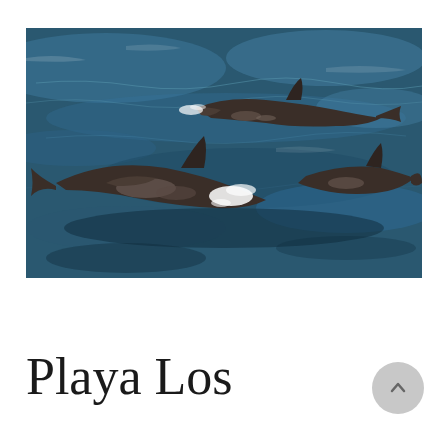[Figure (photo): Aerial/side view of three dolphins swimming in dark blue ocean water, showing their dorsal fins and bodies partially above the surface with white water spray around them.]
Playa Los